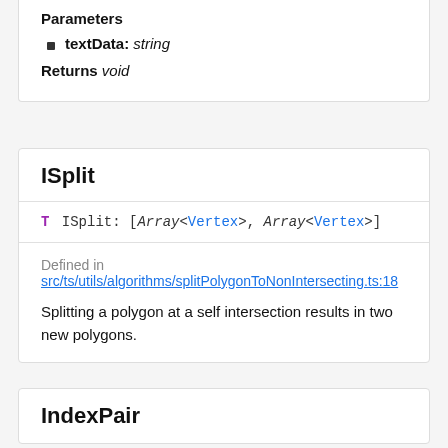Parameters
textData: string
Returns void
ISplit
T ISplit: [Array<Vertex>, Array<Vertex>]
Defined in
src/ts/utils/algorithms/splitPolygonToNonIntersecting.ts:18
Splitting a polygon at a self intersection results in two new polygons.
IndexPair